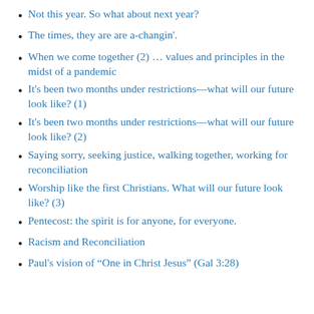Not this year. So what about next year?
The times, they are are a-changin'.
When we come together (2) … values and principles in the midst of a pandemic
It's been two months under restrictions—what will our future look like? (1)
It's been two months under restrictions—what will our future look like? (2)
Saying sorry, seeking justice, walking together, working for reconciliation
Worship like the first Christians. What will our future look like? (3)
Pentecost: the spirit is for anyone, for everyone.
Racism and Reconciliation
Paul's vision of “One in Christ Jesus” (Gal 3:28)